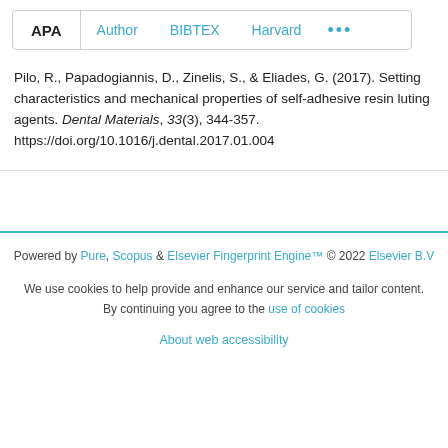APA | Author | BIBTEX | Harvard | ...
Pilo, R., Papadogiannis, D., Zinelis, S., & Eliades, G. (2017). Setting characteristics and mechanical properties of self-adhesive resin luting agents. Dental Materials, 33(3), 344-357. https://doi.org/10.1016/j.dental.2017.01.004
Powered by Pure, Scopus & Elsevier Fingerprint Engine™ © 2022 Elsevier B.V
We use cookies to help provide and enhance our service and tailor content. By continuing you agree to the use of cookies
About web accessibility